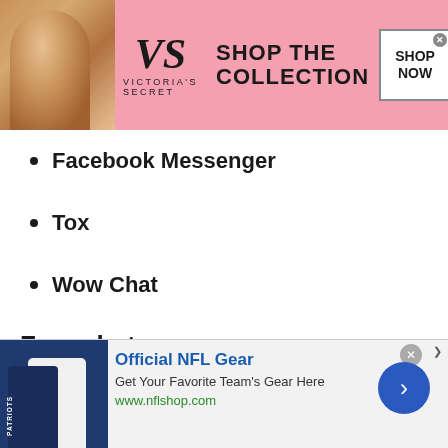[Figure (screenshot): Victoria's Secret advertisement banner with model, VS logo, 'SHOP THE COLLECTION' text, and SHOP NOW button]
Facebook Messenger
Tox
Wow Chat
Free chat rooms
Free chat rooms have been one of the most trending sources for interactions between people across the globe. Some of the best and mostly used free chat rooms are as
[Figure (screenshot): Official NFL Gear advertisement with football jerseys image, 'Official NFL Gear', 'Get Your Favorite Team's Gear Here', 'www.nflshop.com', and a navigation arrow button]